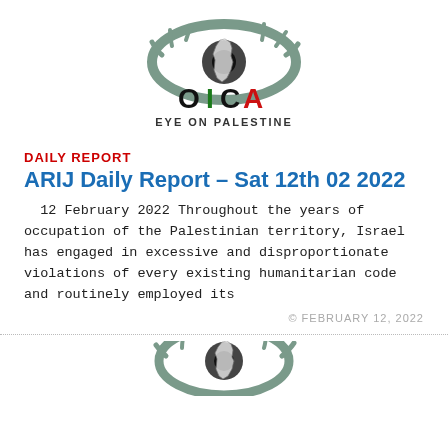[Figure (logo): OICA Eye on Palestine logo — stylized eye with map of Palestine, letters O I C A in black/green/black/red, text 'EYE ON PALESTINE' below]
DAILY REPORT
ARIJ Daily Report – Sat 12th 02 2022
12 February 2022 Throughout the years of occupation of the Palestinian territory, Israel has engaged in excessive and disproportionate violations of every existing humanitarian code and routinely employed its
© FEBRUARY 12, 2022
[Figure (logo): Partial OICA Eye on Palestine logo at bottom of page — cropped eye/map graphic]